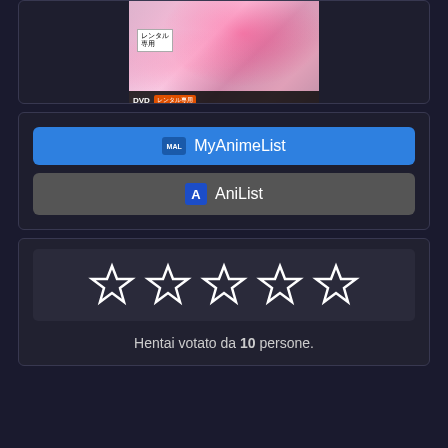[Figure (photo): Anime DVD cover art showing a character in pink floral dress with roses, with a rental badge and DVD label at the bottom]
MyAnimeList
AniList
[Figure (other): Five empty star rating icons displayed in a row]
Hentai votato da 10 persone.